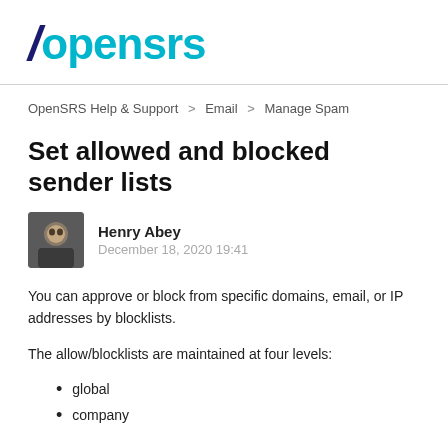[Figure (logo): OpenSRS logo with dark blue italic slash and cyan 'opensrs' text]
OpenSRS Help & Support > Email > Manage Spam
Set allowed and blocked sender lists
[Figure (photo): Avatar photo of Henry Abey]
Henry Abey
December 18, 2020 19:41
You can approve or block from specific domains, email, or IP addresses by blocklists.
The allow/blocklists are maintained at four levels:
global
company